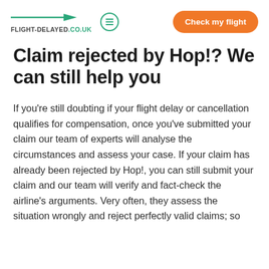FLIGHT-DELAYED.CO.UK — Check my flight
Claim rejected by Hop!? We can still help you
If you're still doubting if your flight delay or cancellation qualifies for compensation, once you've submitted your claim our team of experts will analyse the circumstances and assess your case. If your claim has already been rejected by Hop!, you can still submit your claim and our team will verify and fact-check the airline's arguments. Very often, they assess the situation wrongly and reject perfectly valid claims; so